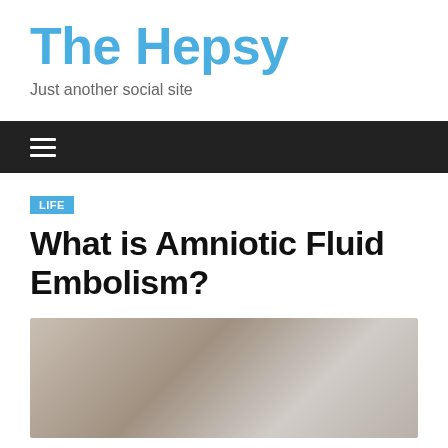The Hepsy
Just another social site
What is Amniotic Fluid Embolism?
[Figure (photo): Pregnant woman in a medical or clinical setting]